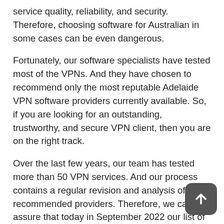service quality, reliability, and security. Therefore, choosing software for Australian in some cases can be even dangerous.
Fortunately, our software specialists have tested most of the VPNs. And they have chosen to recommend only the most reputable Adelaide VPN software providers currently available. So, if you are looking for an outstanding, trustworthy, and secure VPN client, then you are on the right track.
Over the last few years, our team has tested more than 50 VPN services. And our process contains a regular revision and analysis of our recommended providers. Therefore, we can assure that today in September 2022 our list of the best Adelaide VPN services you find only the most endorsed and certified providers.